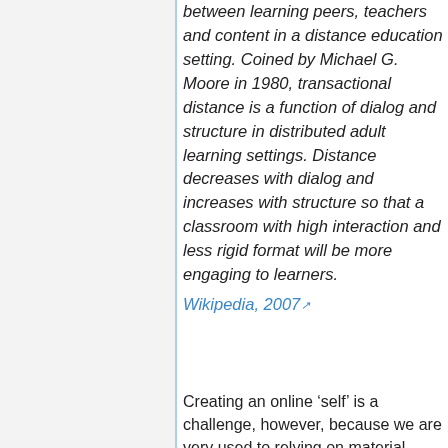between learning peers, teachers and content in a distance education setting. Coined by Michael G. Moore in 1980, transactional distance is a function of dialog and structure in distributed adult learning settings. Distance decreases with dialog and increases with structure so that a classroom with high interaction and less rigid format will be more engaging to learners. Wikipedia, 2007
Creating an online ‘self’ is a challenge, however, because we are very used to relying on material elements to give